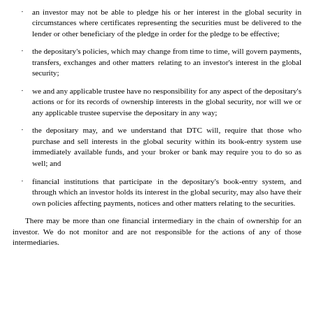an investor may not be able to pledge his or her interest in the global security in circumstances where certificates representing the securities must be delivered to the lender or other beneficiary of the pledge in order for the pledge to be effective;
the depositary’s policies, which may change from time to time, will govern payments, transfers, exchanges and other matters relating to an investor’s interest in the global security;
we and any applicable trustee have no responsibility for any aspect of the depositary’s actions or for its records of ownership interests in the global security, nor will we or any applicable trustee supervise the depositary in any way;
the depositary may, and we understand that DTC will, require that those who purchase and sell interests in the global security within its book-entry system use immediately available funds, and your broker or bank may require you to do so as well; and
financial institutions that participate in the depositary’s book-entry system, and through which an investor holds its interest in the global security, may also have their own policies affecting payments, notices and other matters relating to the securities.
There may be more than one financial intermediary in the chain of ownership for an investor. We do not monitor and are not responsible for the actions of any of those intermediaries.